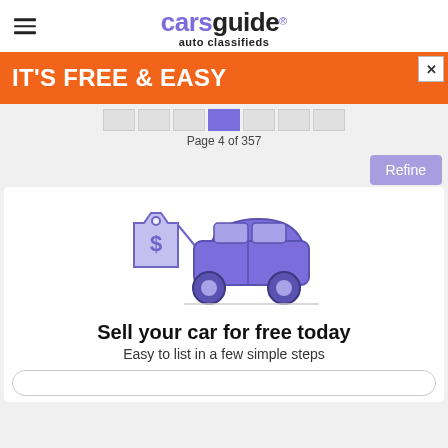carsguide auto classifieds
[Figure (infographic): Orange promotional banner with white bold text: IT'S FREE & EASY, with a close (X) button in top right]
Page 4 of 357
Refine
[Figure (illustration): Illustration of a purple/indigo car with a dollar-sign price tag attached, sitting on a ground line]
Sell your car for free today
Easy to list in a few simple steps